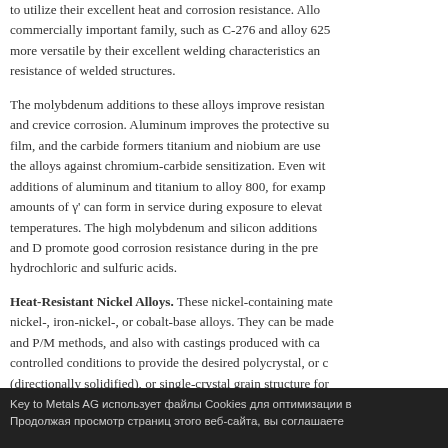to utilize their excellent heat and corrosion resistance. Alloys commercially important family, such as C-276 and alloy 625 more versatile by their excellent welding characteristics and resistance of welded structures.
The molybdenum additions to these alloys improve resistance and crevice corrosion. Aluminum improves the protective surface film, and the carbide formers titanium and niobium are used the alloys against chromium-carbide sensitization. Even with additions of aluminum and titanium to alloy 800, for example amounts of γ' can form in service during exposure to elevated temperatures. The high molybdenum and silicon additions and D promote good corrosion resistance during in the presence of hydrochloric and sulfuric acids.
Heat-Resistant Nickel Alloys. These nickel-containing materials are nickel-, iron-nickel-, or cobalt-base alloys. They can be made by wrought and P/M methods, and also with castings produced with carefully controlled conditions to provide the desired polycrystal, or columnar (directionally solidified), or single-crystal grain structure for elevated-temperature strength and oxidation resistance. The nickel...
Key to Metals AG использует файлы Cookies для оптимизации вашего опыта. Продолжая просмотр страниц этого веб-сайта, вы соглашаетесь